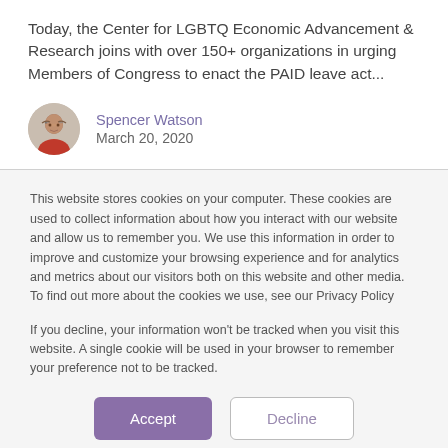Today, the Center for LGBTQ Economic Advancement & Research joins with over 150+ organizations in urging Members of Congress to enact the PAID leave act...
[Figure (photo): Circular avatar photo of Spencer Watson, a man with glasses and a beard wearing a red shirt]
Spencer Watson
March 20, 2020
This website stores cookies on your computer. These cookies are used to collect information about how you interact with our website and allow us to remember you. We use this information in order to improve and customize your browsing experience and for analytics and metrics about our visitors both on this website and other media. To find out more about the cookies we use, see our Privacy Policy
If you decline, your information won't be tracked when you visit this website. A single cookie will be used in your browser to remember your preference not to be tracked.